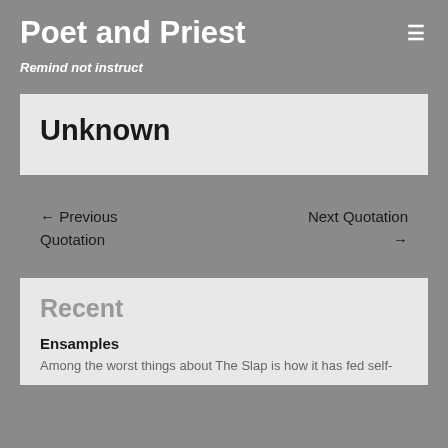Poet and Priest
Remind not instruct
Unknown
← Previous Quotation
Next Quotation →
Recent
Ensamples
Among the worst things about The Slap is how it has fed self-